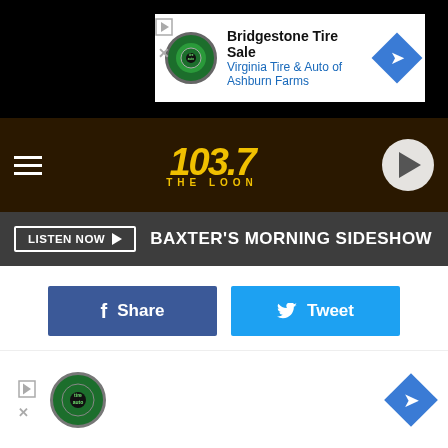[Figure (screenshot): Bridgestone Tire Sale ad banner - Virginia Tire & Auto of Ashburn Farms]
[Figure (logo): 103.7 The Loon radio station header with hamburger menu and play button]
LISTEN NOW ▶  BAXTER'S MORNING SIDESHOW
[Figure (infographic): Facebook Share and Twitter Tweet social sharing buttons]
According to Economic Development Authority agenda for Tuesday, staff has been working with the owners of Midnight Real Estate LLC who own the property who say they wish to redevelop the site.
[Figure (screenshot): 103.7 The Loon app download banner - GET OUR FREE MOBILE APP]
[Figure (screenshot): Bottom Bridgestone/Virginia Tire & Auto ad overlay]